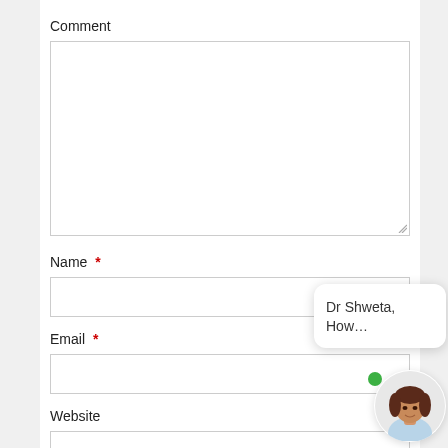Comment
[Figure (screenshot): Empty textarea input box for comment]
Name *
[Figure (screenshot): Text input field for name with autocomplete suggestion showing 'Dr Shweta, How...']
Email *
[Figure (screenshot): Text input field for email]
Website
[Figure (screenshot): Text input field for website, partially visible]